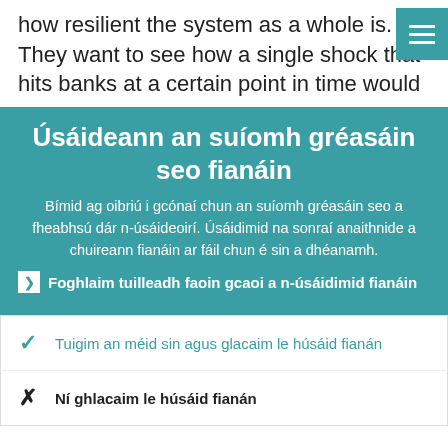how resilient the system as a whole is. They want to see how a single shock that hits banks at a certain point in time would
Úsáideann an suíomh gréasáin seo fianáin
Bímid ag oibriú i gcónaí chun an suíomh gréasáin seo a fheabhsú dár n-úsáideoirí. Úsáidimid na sonraí anaithnide a chuireann fianáin ar fáil chun é sin a dhéanamh.
Foghlaim tuilleadh faoin gcaoi a n-úsáidimid fianáin
Tuigim an méid sin agus glacaim le húsáid fianán
Ní ghlacaim le húsáid fianán